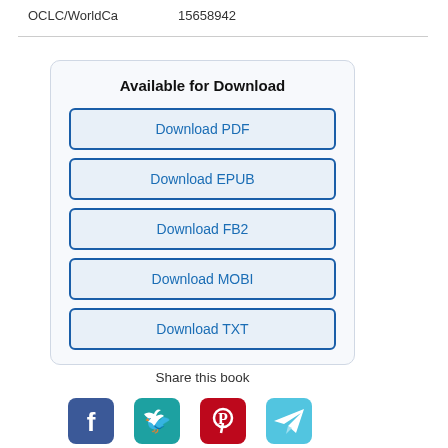OCLC/WorldCa    15658942
Available for Download
Download PDF
Download EPUB
Download FB2
Download MOBI
Download TXT
Share this book
[Figure (illustration): Social media share icons: Facebook (blue), Twitter (teal), Pinterest (red), Telegram (light blue)]